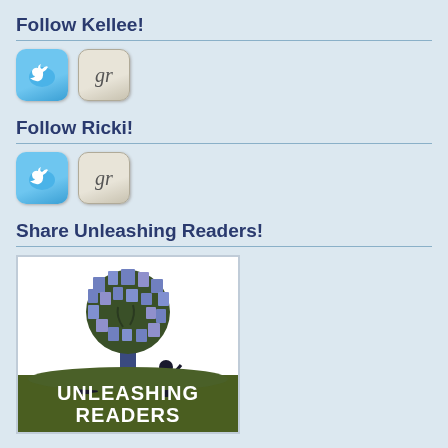Follow Kellee!
[Figure (logo): Twitter bird icon (blue rounded square) and Goodreads 'gr' icon (tan/beige rounded square) for following Kellee on social media]
Follow Ricki!
[Figure (logo): Twitter bird icon (blue rounded square) and Goodreads 'gr' icon (tan/beige rounded square) for following Ricki on social media]
Share Unleashing Readers!
[Figure (logo): Unleashing Readers logo: a tree with books as leaves, silhouettes of two children reading, with text 'UNLEASHING READERS' on a dark olive/green background]